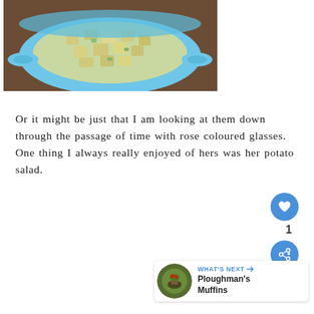[Figure (photo): A blue bowl filled with potato salad (cubed potatoes), photographed from above on a wooden surface.]
Or it might be just that I am looking at them down through the passage of time with rose coloured glasses.  One thing I always really enjoyed of hers was her potato salad.
[Figure (other): Social UI overlay: a blue heart/like button with count '1', and a blue share button with a network icon.]
[Figure (other): WHAT'S NEXT panel with thumbnail and title 'Ploughman's Muffins']